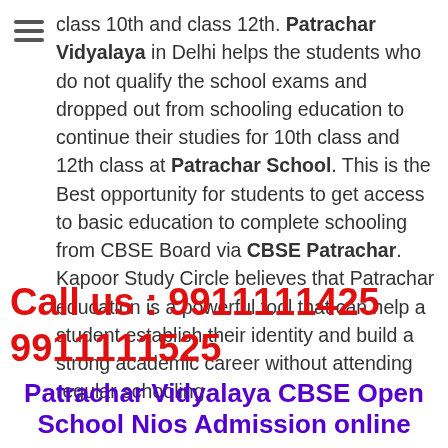class 10th and class 12th. Patrachar Vidyalaya in Delhi helps the students who do not qualify the school exams and dropped out from schooling education to continue their studies for 10th class and 12th class at Patrachar School. This is the Best opportunity for students to get access to basic education to complete schooling from CBSE Board via CBSE Patrachar. Kapoor Study Circle believes that Patrachar education is a powerful tool that can help a student establish their identity and build a strong academic career without attending regular schooling.
Call us : 9911111425
9911111525
Patrachar Vidyalaya CBSE Open School Nios Admission online